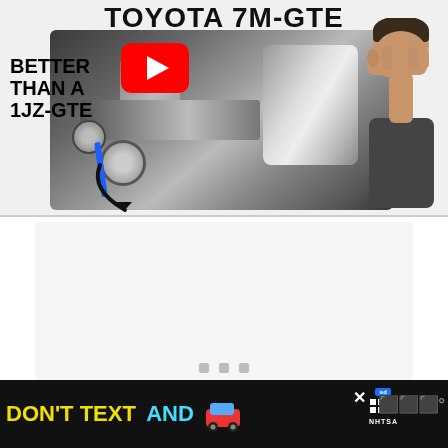[Figure (screenshot): YouTube video thumbnail for 'Toyota 7M-GTE' video with text 'BETTER THAN A 1JZ-GTE', a red YouTube play button overlay on a car engine image, and a man doing a face-palm gesture on the right side. Below is a blank content area with navigation dots. At the bottom is an ad banner reading 'DON'T TEXT AND' with a car emoji, NHTSA branding.]